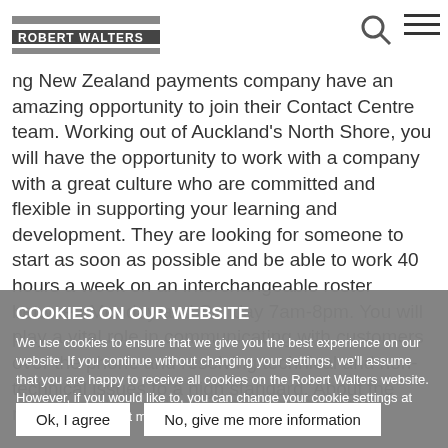Robert Walters logo, search icon, hamburger menu
ng New Zealand payments company have an amazing opportunity to join their Contact Centre team. Working out of Auckland's North Shore, you will have the opportunity to work with a company with a great culture who are committed and flexible in supporting your learning and development. They are looking for someone to start as soon as possible and be able to work 40 hours a week on an interchangeable roster between Monday and Sunday 7am-8pm. You will play a vital role in communicating with customers over the phone and resolving technical and non-technical issues to a high standard. About the role: As a
COOKIES ON OUR WEBSITE
We use cookies to ensure that we give you the best experience on our website. If you continue without changing your settings, we'll assume that you are happy to receive all cookies on the Robert Walters website. However, if you would like to, you can change your cookie settings at any time. To find out more, please view our cookies policy.
Ok, I agree
No, give me more information